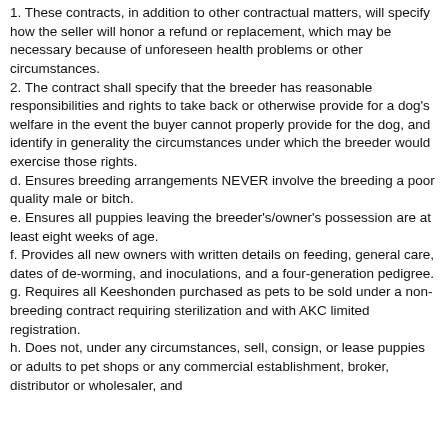1. These contracts, in addition to other contractual matters, will specify how the seller will honor a refund or replacement, which may be necessary because of unforeseen health problems or other circumstances.
2. The contract shall specify that the breeder has reasonable responsibilities and rights to take back or otherwise provide for a dog's welfare in the event the buyer cannot properly provide for the dog, and identify in generality the circumstances under which the breeder would exercise those rights.
d. Ensures breeding arrangements NEVER involve the breeding a poor quality male or bitch.
e. Ensures all puppies leaving the breeder's/owner's possession are at least eight weeks of age.
f. Provides all new owners with written details on feeding, general care, dates of de-worming, and inoculations, and a four-generation pedigree.
g. Requires all Keeshonden purchased as pets to be sold under a non-breeding contract requiring sterilization and with AKC limited registration.
h. Does not, under any circumstances, sell, consign, or lease puppies or adults to pet shops or any commercial establishment, broker, distributor or wholesaler, and